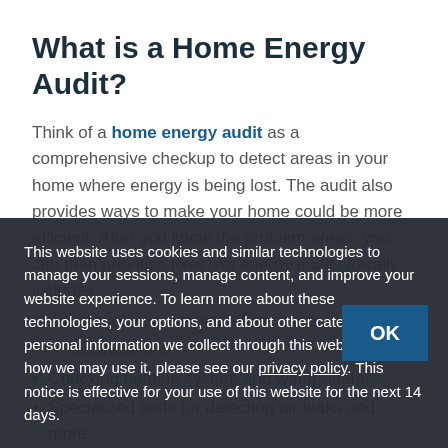What is a Home Energy Audit?
Think of a home energy audit as a comprehensive checkup to detect areas in your home where energy is being lost. The audit also provides ways to make your home could be more efficient. After you know the problem areas, you can then prioritize fixes. An energy audit typically includes:
A thorough examination of each room in your ...
... electrical or w...
Checking heating system and water heater
Specialized tests for detecting air leaks and more
This website uses cookies and similar technologies to manage your sessions, manage content, and improve your website experience. To learn more about these technologies, your options, and about other categories of personal information we collect through this website and how we may use it, please see our privacy policy. This notice is effective for your use of this website for the next 14 days.